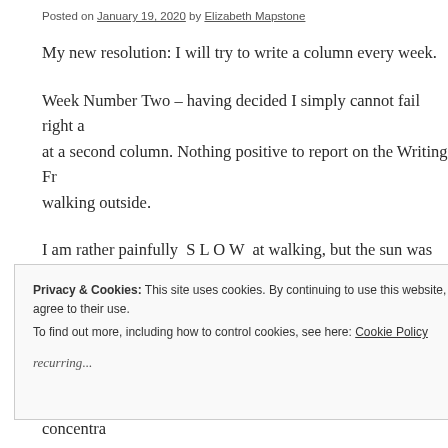Posted on January 19, 2020 by Elizabeth Mapstone
My new resolution: I will try to write a column every week.
Week Number Two – having decided I simply cannot fail right at a second column. Nothing positive to report on the Writing Fr... walking outside.
I am rather painfully  S L O W  at walking, but the sun was shin... the house, and only a pathetic creature with no oomph at all cou... nature's splendour. Yes, it was COLD, but I do have lots of war... and very quickly I was able to forget the temperature, concentra... winter's day.
Privacy & Cookies: This site uses cookies. By continuing to use this website, you agree to their use.
To find out more, including how to control cookies, see here: Cookie Policy
Close and accept